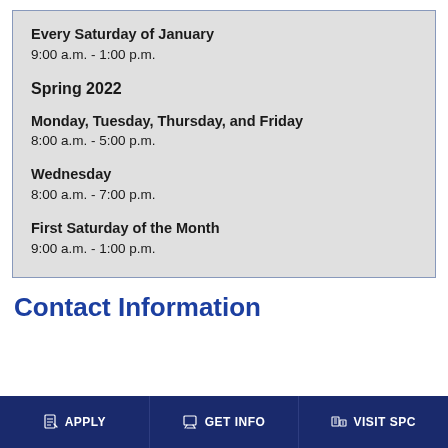Every Saturday of January
9:00 a.m. - 1:00 p.m.
Spring 2022
Monday, Tuesday, Thursday, and Friday
8:00 a.m. - 5:00 p.m.
Wednesday
8:00 a.m. - 7:00 p.m.
First Saturday of the Month
9:00 a.m. - 1:00 p.m.
Contact Information
APPLY
GET INFO
VISIT SPC